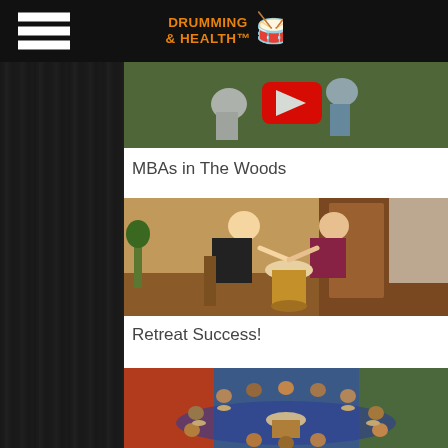Drumming & Health
[Figure (photo): Video thumbnail showing two people outdoors with a YouTube play button overlay, appears to be people exercising or doing yoga in nature]
MBAs in The Woods
[Figure (photo): Two people sitting facing each other indoors, holding hands across a djembe drum, in a room with wooden floors and plants]
Retreat Success!
[Figure (photo): Large group of people sitting in a circle with drums at what appears to be a drumming retreat or workshop session indoors]